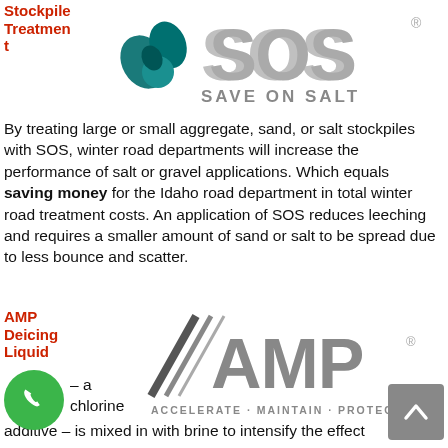Stockpile Treatment
[Figure (logo): SOS Save on Salt logo with teal water drop icon and large SOS text]
By treating large or small aggregate, sand, or salt stockpiles with SOS, winter road departments will increase the performance of salt or gravel applications. Which equals saving money for the Idaho road department in total winter road treatment costs. An application of SOS reduces leeching and requires a smaller amount of sand or salt to be spread due to less bounce and scatter.
AMP Deicing Liquid
[Figure (logo): AMP logo with diagonal lines and text ACCELERATE · MAINTAIN · PROTECT]
– a chlorine additive – is mixed in with brine to intensify the effect